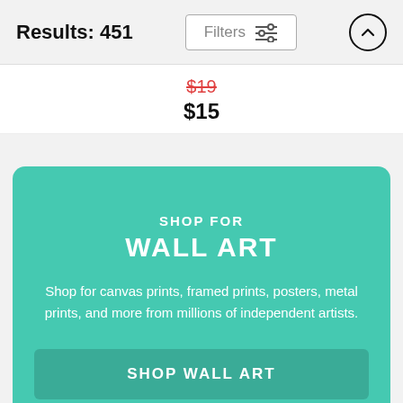Results: 451
Filters
$19 $15
SHOP FOR WALL ART
Shop for canvas prints, framed prints, posters, metal prints, and more from millions of independent artists.
SHOP WALL ART